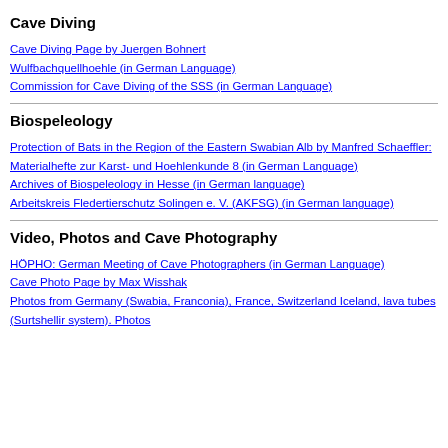Cave Diving
Cave Diving Page by Juergen Bohnert
Wulfbachquellhoehle (in German Language)
Commission for Cave Diving of the SSS (in German Language)
Biospeleology
Protection of Bats in the Region of the Eastern Swabian Alb by Manfred Schaeffler: Materialhefte zur Karst- und Hoehlenkunde 8 (in German Language)
Archives of Biospeleology in Hesse (in German language)
Arbeitskreis Fledertierschutz Solingen e. V. (AKFSG) (in German language)
Video, Photos and Cave Photography
HÖPHO: German Meeting of Cave Photographers (in German Language)
Cave Photo Page by Max Wisshak
Photos from Germany (Swabia, Franconia), France, Switzerland Iceland, lava tubes (Surtshellir system). Photos